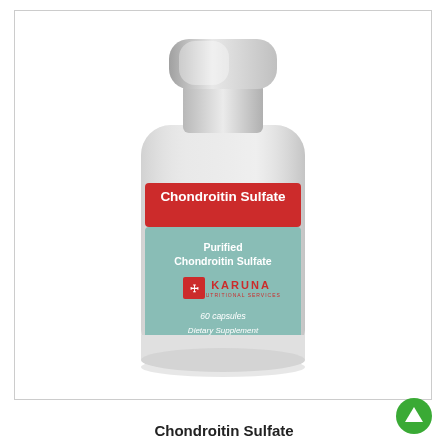[Figure (photo): A white plastic supplement bottle with a red label band reading 'Chondroitin Sulfate' in white text, a teal/green lower label section reading 'Purified Chondroitin Sulfate', the Karuna brand logo, '60 capsules', and 'Dietary Supplement'.]
Chondroitin Sulfate